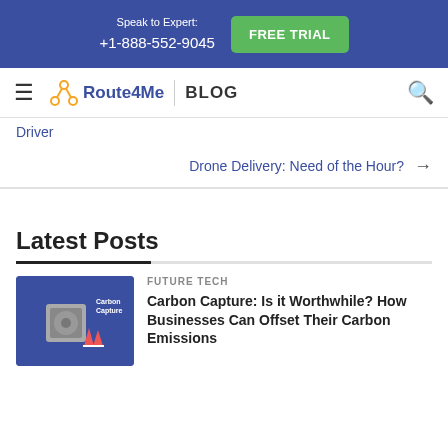Speak to Expert: +1-888-552-9045 | FREE TRIAL
[Figure (logo): Route4Me Blog logo with hamburger menu and search icon]
Driver
Drone Delivery: Need of the Hour? →
Latest Posts
FUTURE TECH
Carbon Capture: Is it Worthwhile? How Businesses Can Offset Their Carbon Emissions